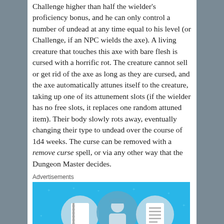Challenge higher than half the wielder's proficiency bonus, and he can only control a number of undead at any time equal to his level (or Challenge, if an NPC wields the axe). A living creature that touches this axe with bare flesh is cursed with a horrific rot. The creature cannot sell or get rid of the axe as long as they are cursed, and the axe automatically attunes itself to the creature, taking up one of its attunement slots (if the wielder has no free slots, it replaces one random attuned item). Their body slowly rots away, eventually changing their type to undead over the course of 1d4 weeks. The curse can be removed with a remove curse spell, or via any other way that the Dungeon Master decides.
Advertisements
[Figure (illustration): Advertisement banner with light blue background showing flat design icons: a notebook, a person wearing a hard hat, and a document/list icon, with small star/sparkle decorations scattered around.]